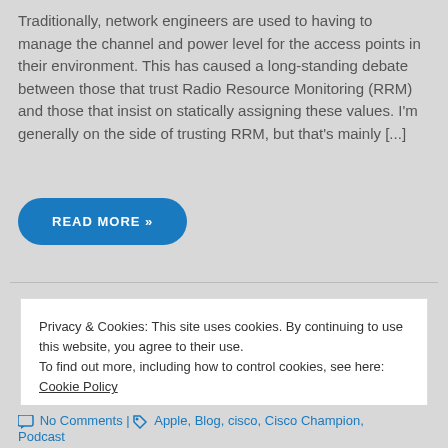Traditionally, network engineers are used to having to manage the channel and power level for the access points in their environment. This has caused a long-standing debate between those that trust Radio Resource Monitoring (RRM) and those that insist on statically assigning these values. I'm generally on the side of trusting RRM, but that's mainly [...]
READ MORE »
Privacy & Cookies: This site uses cookies. By continuing to use this website, you agree to their use.
To find out more, including how to control cookies, see here:
Cookie Policy
Close and accept
No Comments | Apple, Blog, cisco, Cisco Champion, Podcast